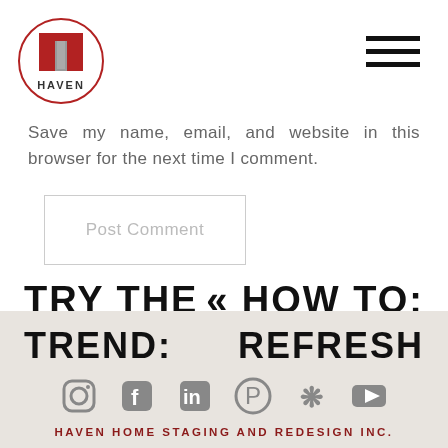[Figure (logo): Haven Home Staging logo: red square with door/arch shape and gray pillar inside, in a red-bordered circle, with text HAVEN below]
Save my name, email, and website in this browser for the next time I comment.
Post Comment
TRY THE   « HOW TO:
TREND:   REFRESH
[Figure (infographic): Social media icons: Instagram, Facebook, LinkedIn, Pinterest, Yelp, YouTube]
HAVEN HOME STAGING AND REDESIGN INC.